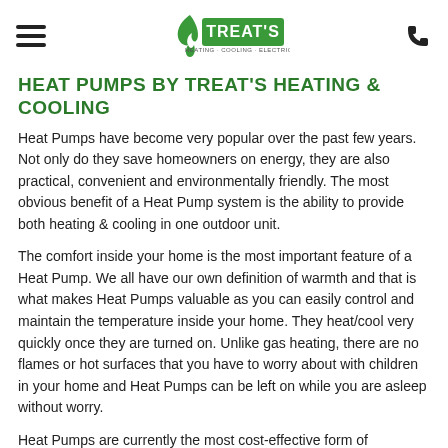TREATS Heating Cooling Electrical — navigation header with logo and phone icon
HEAT PUMPS BY TREAT'S HEATING & COOLING
Heat Pumps have become very popular over the past few years.  Not only do they save homeowners on energy, they are also practical, convenient and environmentally friendly.  The most obvious benefit of a Heat Pump system is the ability to provide both heating & cooling in one outdoor unit.
The comfort inside your home is the most important feature of a Heat Pump.  We all have our own definition of warmth and that is what makes Heat Pumps valuable as you can easily control and maintain the temperature inside your home.  They heat/cool very quickly once they are turned on.  Unlike gas heating, there are no flames or hot surfaces that you have to worry about with children in your home and Heat Pumps can be left on while you are asleep without worry.
Heat Pumps are currently the most cost-effective form of